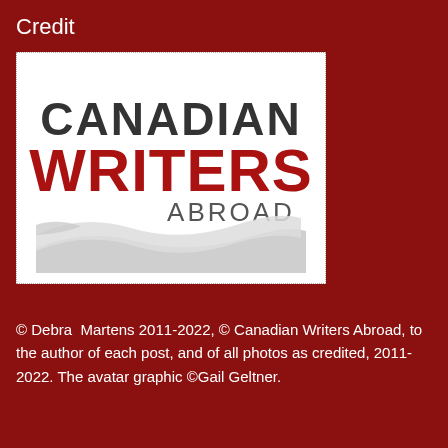Credit
[Figure (logo): Canadian Writers Abroad logo with stylized wave graphic in grey, 'CANADIAN' in dark grey bold, 'WRITERS' in red bold, 'ABROAD' in dark grey smaller caps.]
© Debra Martens 2011-2022, © Canadian Writers Abroad, to the author of each post, and of all photos as credited, 2011-2022. The avatar graphic ©Gail Geltner.